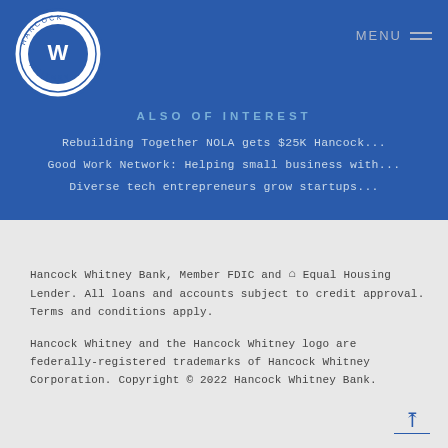[Figure (logo): Hancock Whitney circular logo with W monogram in blue and white]
MENU
ALSO OF INTEREST
Rebuilding Together NOLA gets $25K Hancock...
Good Work Network: Helping small business with...
Diverse tech entrepreneurs grow startups...
Hancock Whitney Bank, Member FDIC and Equal Housing Lender. All loans and accounts subject to credit approval. Terms and conditions apply.
Hancock Whitney and the Hancock Whitney logo are federally-registered trademarks of Hancock Whitney Corporation. Copyright © 2022 Hancock Whitney Bank.